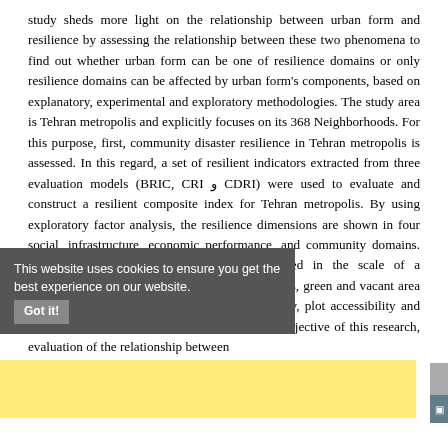study sheds more light on the relationship between urban form and resilience by assessing the relationship between these two phenomena to find out whether urban form can be one of resilience domains or only resilience domains can be affected by urban form's components, based on explanatory, experimental and exploratory methodologies. The study area is Tehran metropolis and explicitly focuses on its 368 Neighborhoods. For this purpose, first, community disaster resilience in Tehran metropolis is assessed. In this regard, a set of resilient indicators extracted from three evaluation models (BRIC, CRI و CDRI) were used to evaluate and construct a resilient composite index for Tehran metropolis. By using exploratory factor analysis, the resilience dimensions are shown in four social, infrastructure, economic performance, and community domains. Second, urban form components are evaluated in the scale of a neighborhood; explaining six factors of denseness, green and vacant area accessibility, non-permeability, retail accessibility, plot accessibility and transit accessibility. Then, to achieve the main objective of this research, evaluation of the relationship between
This website uses cookies to ensure you get the best experience on our website. Got it!